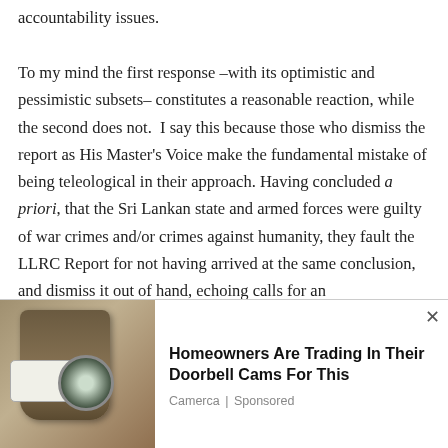accountability issues.
To my mind the first response –with its optimistic and pessimistic subsets– constitutes a reasonable reaction, while the second does not.  I say this because those who dismiss the report as His Master's Voice make the fundamental mistake of being teleological in their approach. Having concluded a priori, that the Sri Lankan state and armed forces were guilty of war crimes and/or crimes against humanity, they fault the LLRC Report for not having arrived at the same conclusion, and dismiss it out of hand, echoing calls for an ...
[Figure (other): Advertisement banner overlay at the bottom of the page. Shows an image of a security camera/doorbell camera mounted on a wall on the left, and advertisement text on the right reading 'Homeowners Are Trading In Their Doorbell Cams For This' with source 'Camerca | Sponsored'. A close (×) button appears at top right of the ad.]